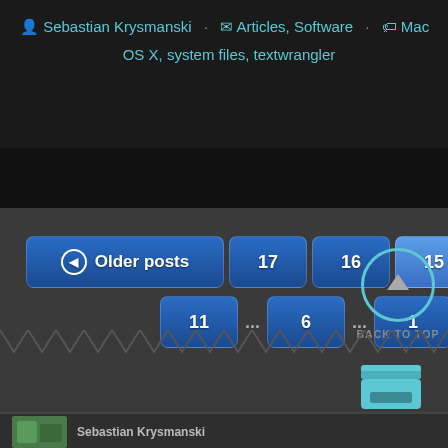Sebastian Krysmanski · Articles, Software · Mac OS X, system files, textwrangler
[Figure (screenshot): Website pagination navigation with 'Older posts' and 'Newer posts' buttons and numbered page buttons (17, 16, 15 active, 14, 13, 12, 11, 6, 1) plus a 'Back to Top' circular arrow button and an 'Archives' icon.]
BACK TO TOP
ARCHIVES
Sebastian Krysmanski